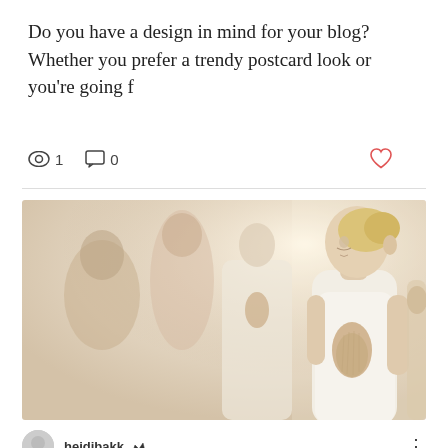Do you have a design in mind for your blog? Whether you prefer a trendy postcard look or you're going f
Views: 1  Comments: 0  Like
[Figure (photo): Group of people dressed in white doing a yoga prayer pose with hands together, woman in foreground in focus]
heidibakk (crown icon)